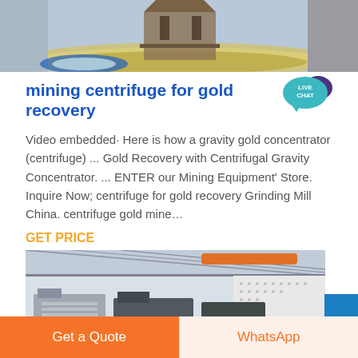[Figure (photo): Top portion of an industrial mining centrifuge machine with yellow/blue circular base and metallic frame structure]
mining centrifuge for gold recovery
[Figure (logo): Live Chat speech bubble badge in teal/purple colors with text LIVE CHAT]
Video embedded· Here is how a gravity gold concentrator (centrifuge) ... Gold Recovery with Centrifugal Gravity Concentrator. ... ENTER our Mining Equipment' Store. Inquire Now; centrifuge for gold recovery Grinding Mill China. centrifuge gold mine…
GET PRICE
[Figure (photo): Industrial mining equipment inside a large warehouse/factory building with steel roof structure, conveyor systems and processing machinery]
Get a Quote
WhatsApp